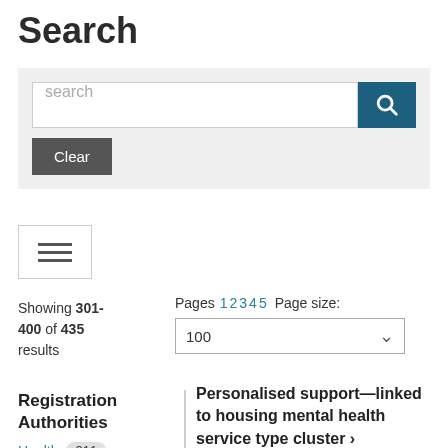Search
[Figure (screenshot): Search bar with placeholder text 'search', a dark teal search button with magnifying glass icon, and a dark grey 'Clear' button below]
[Figure (other): Filter/hamburger icon button with three horizontal lines]
Showing 301-400 of 435 results
Pages 1 2 3 4 5  Page size: 100
Registration Authorities
Health  211
Personalised support—linked to housing mental health service type cluster >
494828 | Data Set Specification | Australian Institute of Health and Welfare